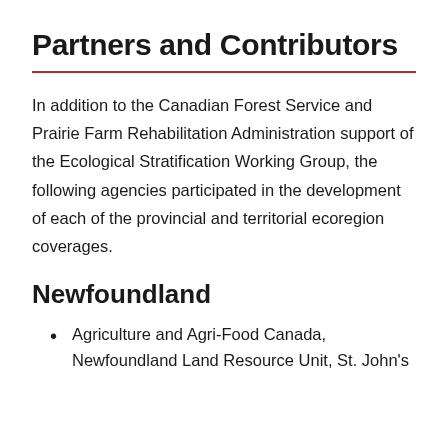Partners and Contributors
In addition to the Canadian Forest Service and Prairie Farm Rehabilitation Administration support of the Ecological Stratification Working Group, the following agencies participated in the development of each of the provincial and territorial ecoregion coverages.
Newfoundland
Agriculture and Agri-Food Canada, Newfoundland Land Resource Unit, St. John's